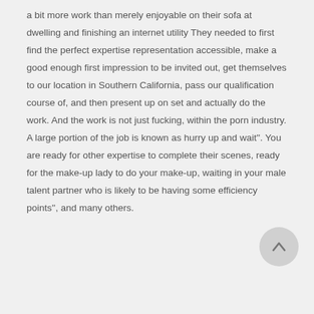a bit more work than merely enjoyable on their sofa at dwelling and finishing an internet utility They needed to first find the perfect expertise representation accessible, make a good enough first impression to be invited out, get themselves to our location in Southern California, pass our qualification course of, and then present up on set and actually do the work. And the work is not just fucking, within the porn industry. A large portion of the job is known as hurry up and wait''. You are ready for other expertise to complete their scenes, ready for the make-up lady to do your make-up, waiting in your male talent partner who is likely to be having some efficiency points'', and many others.
[Figure (other): Circular scroll-to-top button with an upward arrow icon]